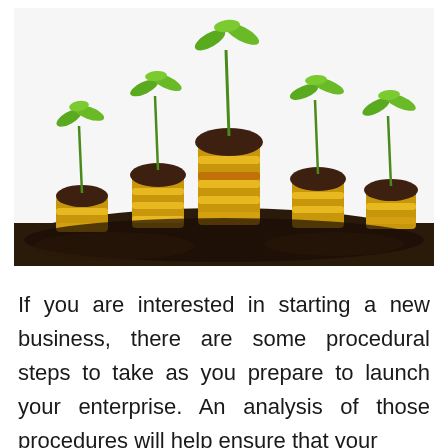[Figure (photo): Photograph of multiple stacks of gold coins planted in dark soil, each with green seedlings sprouting from the top, symbolizing financial growth and investment.]
If you are interested in starting a new business, there are some procedural steps to take as you prepare to launch your enterprise. An analysis of those procedures will help ensure that your